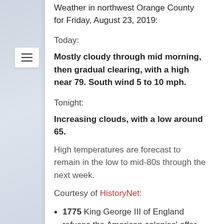Weather in northwest Orange County for Friday, August 23, 2019:
Today:
Mostly cloudy through mid morning, then gradual clearing, with a high near 79. South wind 5 to 10 mph.
Tonight:
Increasing clouds, with a low around 65.
High temperatures are forecast to remain in the low to mid-80s through the next week.
Courtesy of HistoryNet:
1775 King George III of England refuses the American colonies' offer of peace and declares them in open rebellion